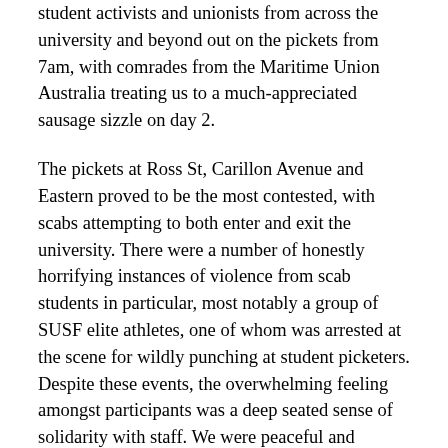student activists and unionists from across the university and beyond out on the pickets from 7am, with comrades from the Maritime Union Australia treating us to a much-appreciated sausage sizzle on day 2.
The pickets at Ross St, Carillon Avenue and Eastern proved to be the most contested, with scabs attempting to both enter and exit the university. There were a number of honestly horrifying instances of violence from scab students in particular, most notably a group of SUSF elite athletes, one of whom was arrested at the scene for wildly punching at student picketers. Despite these events, the overwhelming feeling amongst participants was a deep seated sense of solidarity with staff. We were peaceful and effective. We had many great speakers from the NTEU, EAG (biggest props to Lia and Deaglan our Education Officers) and other unions clarify the demands of the NTEU in their EBA negotiations, while Damien Cahill, NTEU Branch Secretary, incorporated a wider point about the need to kick the Liberals out if we are to see any legislative gains for higher education in the medium to long term. It also brought into clear focus the extraordinary